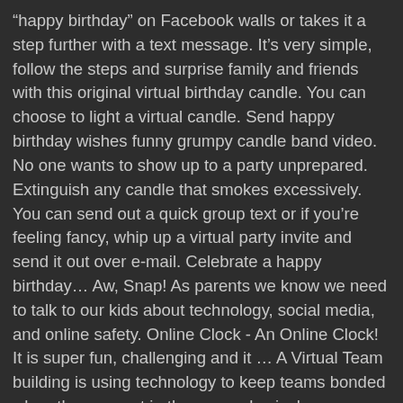“happy birthday” on Facebook walls or takes it a step further with a text message. It’s very simple, follow the steps and surprise family and friends with this original virtual birthday candle. You can choose to light a virtual candle. Send happy birthday wishes funny grumpy candle band video. No one wants to show up to a party unprepared. Extinguish any candle that smokes excessively. You can send out a quick group text or if you’re feeling fancy, whip up a virtual party invite and send it out over e-mail. Celebrate a happy birthday… Aw, Snap! As parents we know we need to talk to our kids about technology, social media, and online safety. Online Clock - An Online Clock! It is super fun, challenging and it … A Virtual Team building is using technology to keep teams bonded when they are not in the same physical space. Simple! Online parties can be more than just the standard Zoom call with your nearest and dearest, too. Virtual Event Ideas. After completing ten questions kids can decorate their very own birthday cake! If it’s your first time hosting a virtual party, don’t worry, we have plenty